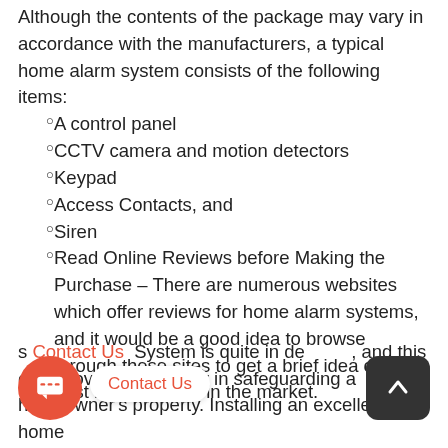Although the contents of the package may vary in accordance with the manufacturers, a typical home alarm system consists of the following items:
A control panel
CCTV camera and motion detectors
Keypad
Access Contacts, and
Siren
Read Online Reviews before Making the Purchase – There are numerous websites which offer reviews for home alarm systems, and it would be a good idea to browse through these sites to get a brief idea of the best home alarms in the market.
s System is quite in demand, and this only proves it efficiency in safeguarding a homeowner's property. Installing an excellent home